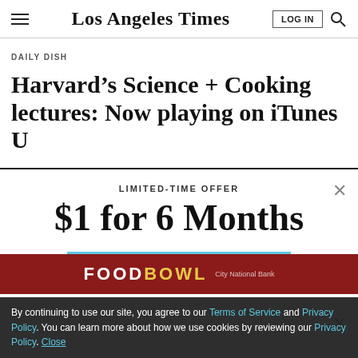Los Angeles Times
DAILY DISH
Harvard’s Science + Cooking lectures: Now playing on iTunes U
LIMITED-TIME OFFER
$1 for 6 Months
SUBSCRIBE NOW
By continuing to use our site, you agree to our Terms of Service and Privacy Policy. You can learn more about how we use cookies by reviewing our Privacy Policy. Close